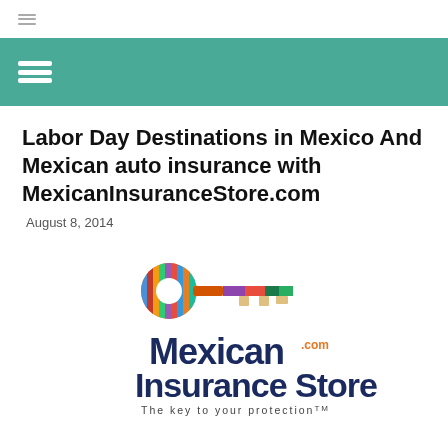Labor Day Destinations in Mexico And Mexican auto insurance with MexicanInsuranceStore.com
August 8, 2014
[Figure (logo): Mexican Insurance Store logo — a colorful striped key above the text 'Mexican Insurance Store .com — The key to your protection TM']